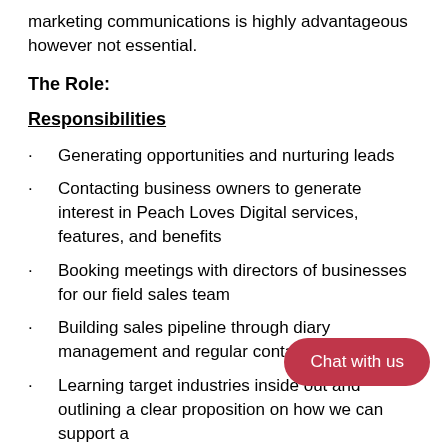marketing communications is highly advantageous however not essential.
The Role:
Responsibilities
Generating opportunities and nurturing leads
Contacting business owners to generate interest in Peach Loves Digital services, features, and benefits
Booking meetings with directors of businesses for our field sales team
Building sales pipeline through diary management and regular contact -email/calls
Learning target industries inside out and outlining a clear proposition on how we can support a